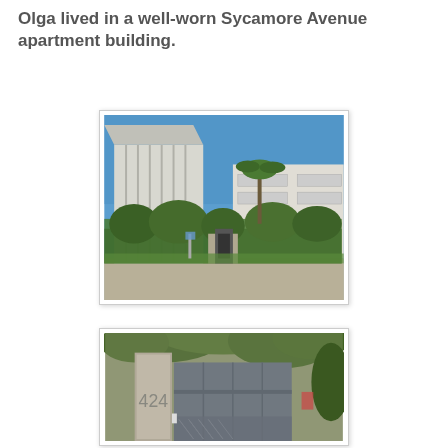Olga lived in a well-worn Sycamore Avenue apartment building.
[Figure (photo): Exterior photo of a well-worn apartment building on Sycamore Avenue. A mid-century modern style building with white vertical panels and flat roof is visible, with lush green hedges and trees in front, and a walkway leading to the entrance.]
[Figure (photo): Close-up photo of an entrance gate with the number 424 visible on a concrete or stone pillar, with a dark gray metal gate and green foliage overhead.]